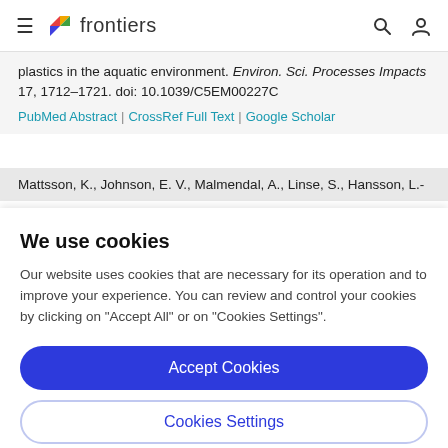frontiers
plastics in the aquatic environment. Environ. Sci. Processes Impacts 17, 1712–1721. doi: 10.1039/C5EM00227C
PubMed Abstract | CrossRef Full Text | Google Scholar
Mattsson, K., Johnson, E. V., Malmendal, A., Linse, S., Hansson, L.-
We use cookies
Our website uses cookies that are necessary for its operation and to improve your experience. You can review and control your cookies by clicking on "Accept All" or on "Cookies Settings".
Accept Cookies
Cookies Settings